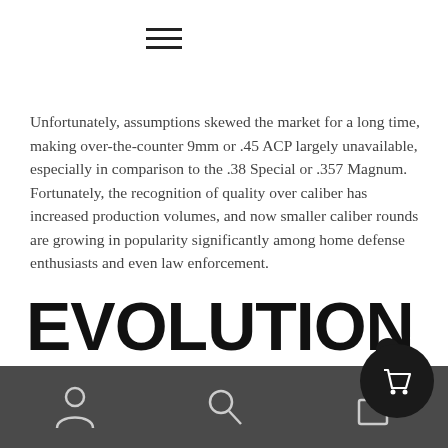≡
Unfortunately, assumptions skewed the market for a long time, making over-the-counter 9mm or .45 ACP largely unavailable, especially in comparison to the .38 Special or .357 Magnum. Fortunately, the recognition of quality over caliber has increased production volumes, and now smaller caliber rounds are growing in popularity significantly among home defense enthusiasts and even law enforcement.
EVOLUTION OF AMMUNITION AND
0  [user icon] [search icon] [bag icon] [cart icon]